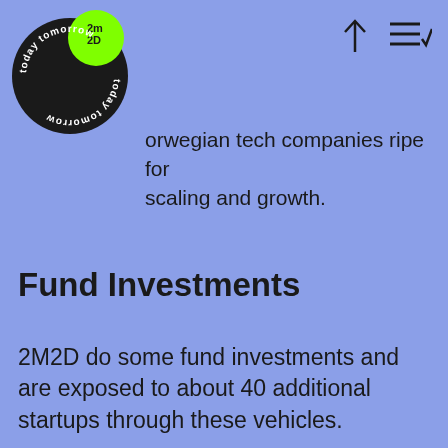[Figure (logo): 2M2D circular logo with black background, green dot, and 'today tomorrow' text arranged in a circle]
Norwegian tech companies ripe for scaling and growth.
Fund Investments
2M2D do some fund investments and are exposed to about 40 additional startups through these vehicles.